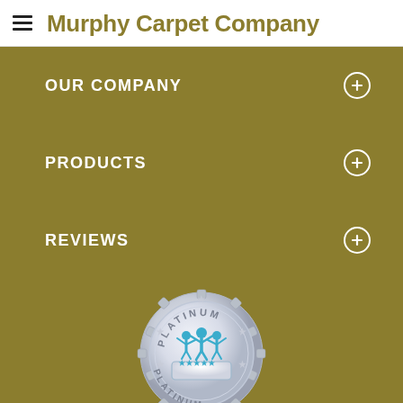Murphy Carpet Company
OUR COMPANY
PRODUCTS
REVIEWS
[Figure (logo): Platinum 5-star rating badge — a silver medallion with 'PLATINUM' text around the top and bottom, a teal icon of three people with arms raised, and five blue stars on a banner in the center.]